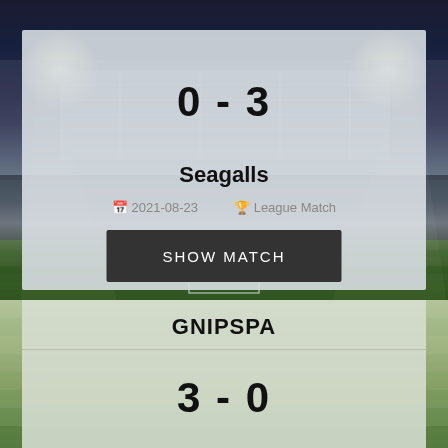[Figure (photo): Football stadium background with floodlights illuminating the pitch at night, showing stands and goal]
0 - 3
Seagalls
2021-08-23   League Match
SHOW MATCH
GNIPSPA
3 - 0